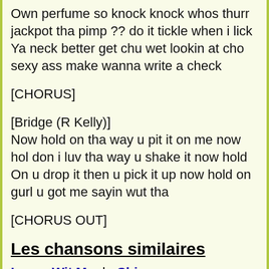Own perfume so knock knock whos thurr jackpot tha pimp ?? do it tickle when i lick Ya neck better get chu wet lookin at cho sexy ass make wanna write a check
[CHORUS]
[Bridge (R Kelly)]
Now hold on tha way u pit it on me now hol don i luv tha way u shake it now hold On u drop it then u pick it up now hold on gurl u got me sayin wut tha
[CHORUS OUT]
Les chansons similaires
Leave Wit Me de Chingy
(feat. R Kelly) [Chorus: (R Kelly)] Baby dont chu wanna leave this V.I.P and finish off this party in my